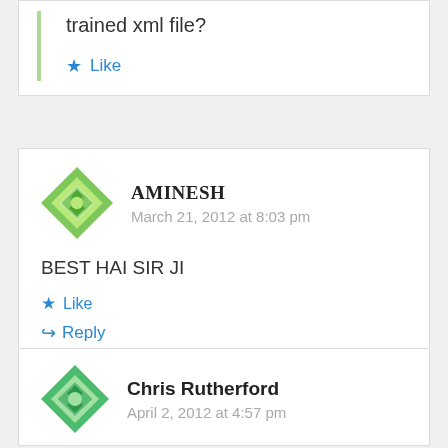trained xml file?
Like
AMINESH
March 21, 2012 at 8:03 pm
BEST HAI SIR JI
Like
Reply
Chris Rutherford
April 2, 2012 at 4:57 pm